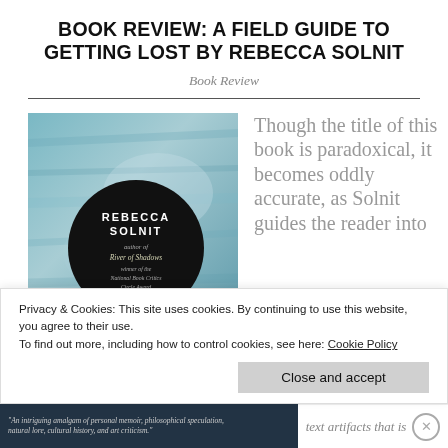BOOK REVIEW: A FIELD GUIDE TO GETTING LOST BY REBECCA SOLNIT
Book Review
[Figure (photo): Book cover of 'A Field Guide to Getting Lost' by Rebecca Solnit. The cover features a teal/blue textured background with a large black circle containing the author's name 'REBECCA SOLNIT' and text 'author of River of Shadows winner of the National Book Critics Circle Award'.]
Though the title of this book is paradoxical, it becomes oddly accurate, as Solnit guides the reader into
Privacy & Cookies: This site uses cookies. By continuing to use this website, you agree to their use.
To find out more, including how to control cookies, see here: Cookie Policy
Close and accept
text artifacts that is